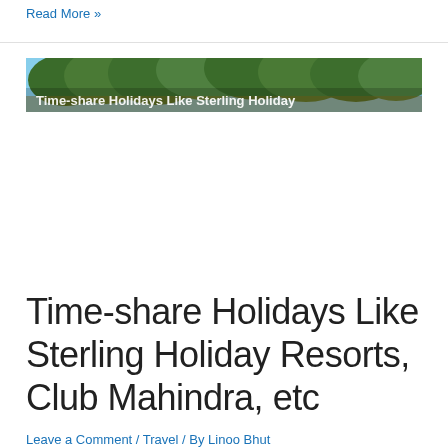Read More »
[Figure (photo): Banner image of trees/nature with overlaid text: Time-share Holidays Like Sterling Holiday]
Time-share Holidays Like Sterling Holiday Resorts, Club Mahindra, etc
Leave a Comment / Travel / By Linoo Bhut